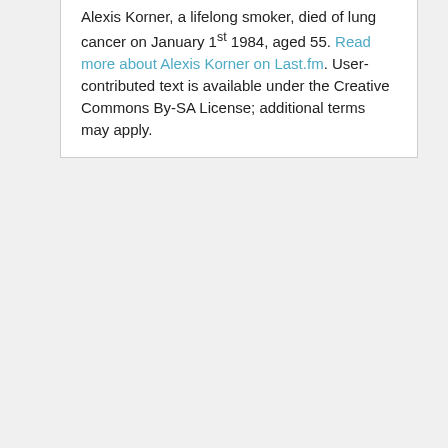Alexis Korner, a lifelong smoker, died of lung cancer on January 1st 1984, aged 55. Read more about Alexis Korner on Last.fm. User-contributed text is available under the Creative Commons By-SA License; additional terms may apply.
Gear used by Alexis Korner
Alexis Korner links
Comments
Add new comment